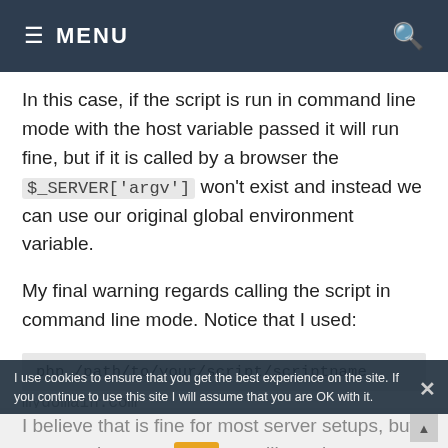≡ MENU
In this case, if the script is run in command line mode with the host variable passed it will run fine, but if it is called by a browser the $_SERVER['argv'] won't exist and instead we can use our original global environment variable.
My final warning regards calling the script in command line mode. Notice that I used:
mydomain.com
I use cookies to ensure that you get the best experience on the site. If you continue to use this site I will assume that you are OK with it.
I believe that is fine for most server setups, but apparently, some servers will require you to specify the whole path to PHP, like: